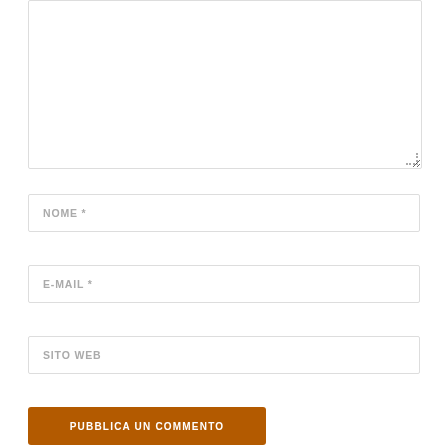[Figure (screenshot): Empty textarea input box with resize handle at bottom-right corner]
NOME *
E-MAIL *
SITO WEB
PUBBLICA UN COMMENTO